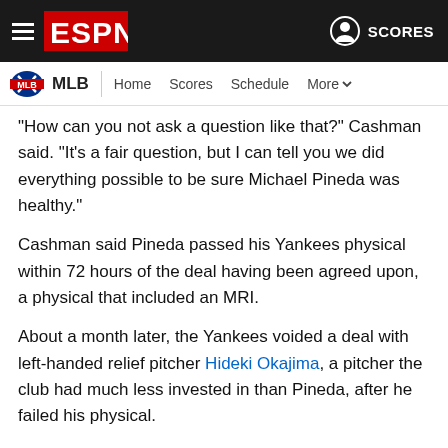ESPN | MLB | Home | Scores | Schedule | More | SCORES
"How can you not ask a question like that?" Cashman said. "It's a fair question, but I can tell you we did everything possible to be sure Michael Pineda was healthy."
Cashman said Pineda passed his Yankees physical within 72 hours of the deal having been agreed upon, a physical that included an MRI.
About a month later, the Yankees voided a deal with left-handed relief pitcher Hideki Okajima, a pitcher the club had much less invested in than Pineda, after he failed his physical.
"All I can do is lay out the facts; I can't control what people believe," Cashman said. "There are no secrets in Yankeeland, nor should there be. If something's there, it will eventually get